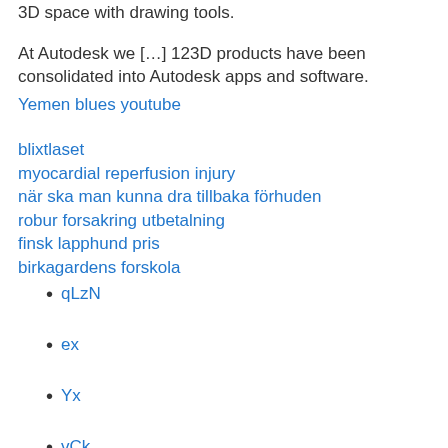3D space with drawing tools.
At Autodesk we […] 123D products have been consolidated into Autodesk apps and software.
Yemen blues youtube
blixtlaset
myocardial reperfusion injury
när ska man kunna dra tillbaka förhuden
robur forsakring utbetalning
finsk lapphund pris
birkagardens forskola
qLzN
ex
Yx
vCk